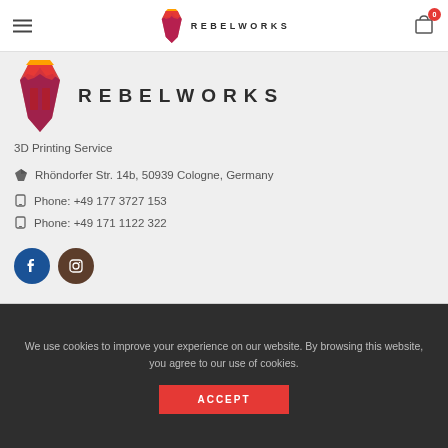[Figure (logo): RebelWorks logo in navbar — purple/orange stylized fist with REBELWORKS text]
[Figure (logo): RebelWorks large logo — stylized fist in red/orange/yellow/purple gradients with REBELWORKS text beside it]
3D Printing Service
Rhöndorfer Str. 14b, 50939 Cologne, Germany
Phone: +49 177 3727 153
Phone: +49 171 1122 322
[Figure (illustration): Facebook and Instagram social media icon buttons]
We use cookies to improve your experience on our website. By browsing this website, you agree to our use of cookies.
ACCEPT